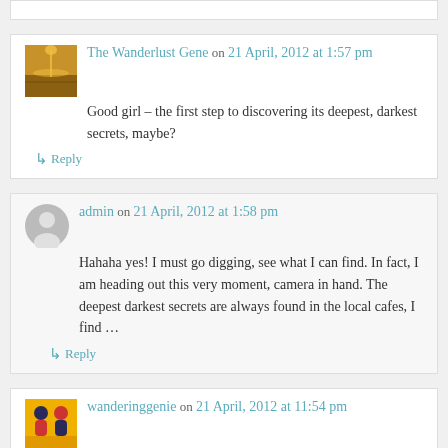[top comment stub]
The Wanderlust Gene on 21 April, 2012 at 1:57 pm
Good girl – the first step to discovering its deepest, darkest secrets, maybe?
↳ Reply
admin on 21 April, 2012 at 1:58 pm
Hahaha yes! I must go digging, see what I can find. In fact, I am heading out this very moment, camera in hand. The deepest darkest secrets are always found in the local cafes, I find …
↳ Reply
wanderinggenie on 21 April, 2012 at 11:54 pm
Wonderful photos and touching heartfelt content. From your